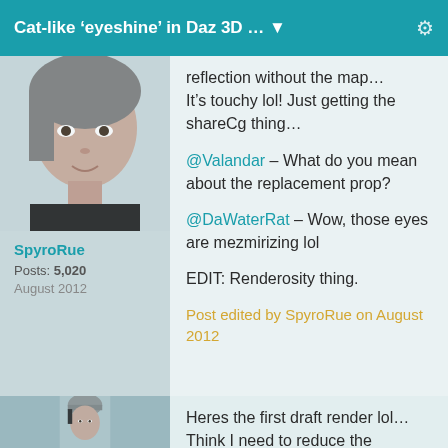Cat-like ‘eyeshine’ in Daz 3D …
[Figure (photo): Avatar photo of user SpyroRue - 3D rendered female face]
SpyroRue
Posts: 5,020
August 2012
reflection without the map… It’s touchy lol! Just getting the shareCg thing…
@Valandar – What do you mean about the replacement prop?
@DaWaterRat – Wow, those eyes are mezmirizing lol
EDIT: Renderosity thing.
Post edited by SpyroRue on August 2012
[Figure (photo): Avatar photo of second user - 3D rendered person wearing beanie hat]
Heres the first draft render lol… Think I need to reduce the reflection lol